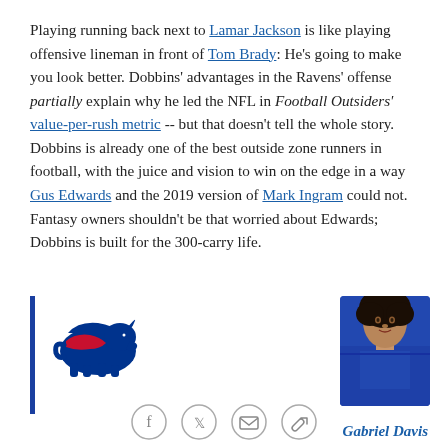Playing running back next to Lamar Jackson is like playing offensive lineman in front of Tom Brady: He's going to make you look better. Dobbins' advantages in the Ravens' offense partially explain why he led the NFL in Football Outsiders' value-per-rush metric -- but that doesn't tell the whole story. Dobbins is already one of the best outside zone runners in football, with the juice and vision to win on the edge in a way Gus Edwards and the 2019 version of Mark Ingram could not. Fantasy owners shouldn't be that worried about Edwards; Dobbins is built for the 300-carry life.
[Figure (logo): Buffalo Bills NFL team logo - charging blue buffalo with red stripe]
[Figure (photo): Headshot photo of Gabriel Davis wearing Buffalo Bills blue jersey, partially visible at bottom of page]
Gabriel Davis
[Figure (infographic): Social media sharing icons: Facebook, Twitter, Email, Link]